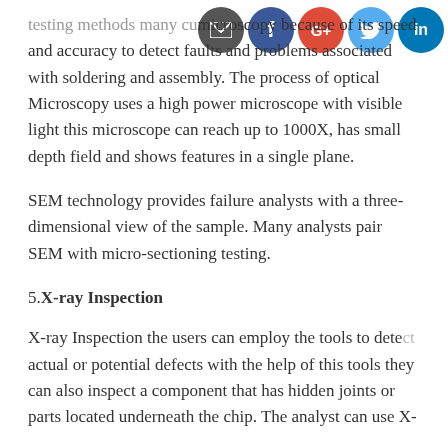[Figure (other): Social sharing icons: email, Facebook, Google+, Twitter, LinkedIn]
testing methods many cu... microscopy because of its speed and accuracy to detect faults and problems associated with soldering and assembly. The process of optical Microscopy uses a high power microscope with visible light this microscope can reach up to 1000X, has small depth field and shows features in a single plane.
SEM technology provides failure analysts with a three-dimensional view of the sample. Many analysts pair SEM with micro-sectioning testing.
5.X-ray Inspection
X-ray Inspection the users can employ the tools to detect actual or potential defects with the help of this tools they can also inspect a component that has hidden joints or parts located underneath the chip. The analyst can use X-